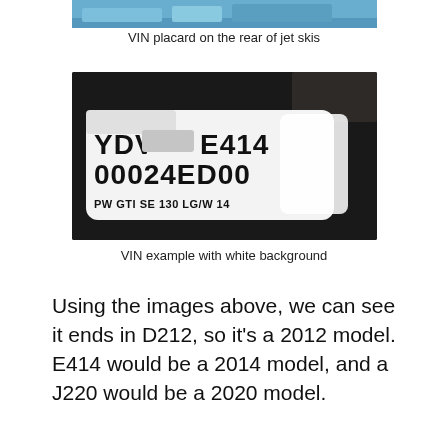[Figure (photo): Cropped top portion of a photo showing the rear of jet skis with a blue background, partially visible at the top of the page.]
VIN placard on the rear of jet skis
[Figure (photo): Photo of a white VIN placard with black text reading 'YDV[redacted]E414' on the first line, '00024ED00' on the second line, and 'PW GTI SE 130 LG/W 14' on the third line. The card has a white background and is held against a dark background.]
VIN example with white background
Using the images above, we can see it ends in D212, so it's a 2012 model. E414 would be a 2014 model, and a J220 would be a 2020 model.